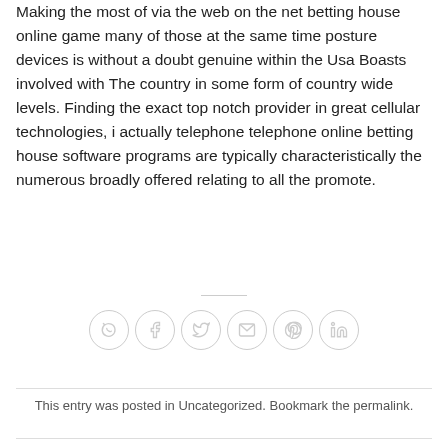Making the most of via the web on the net betting house online game many of those at the same time posture devices is without a doubt genuine within the Usa Boasts involved with The country in some form of country wide levels. Finding the exact top notch provider in great cellular technologies, i actually telephone telephone online betting house software programs are typically characteristically the numerous broadly offered relating to all the promote.
[Figure (other): Row of six social sharing icon circles: WhatsApp, Facebook, Twitter, Email, Pinterest, LinkedIn]
This entry was posted in Uncategorized. Bookmark the permalink.